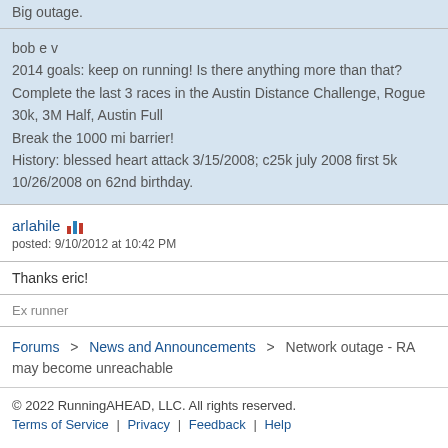Big outage.
bob e v
2014 goals: keep on running! Is there anything more than that?
Complete the last 3 races in the Austin Distance Challenge, Rogue 30k, 3M Half, Austin Full
Break the 1000 mi barrier!
History: blessed heart attack 3/15/2008; c25k july 2008 first 5k 10/26/2008 on 62nd birthday.
arlahile
posted: 9/10/2012 at 10:42 PM
Thanks eric!
Ex runner
Forums > News and Announcements > Network outage - RA may become unreachable
© 2022 RunningAHEAD, LLC. All rights reserved.
Terms of Service | Privacy | Feedback | Help